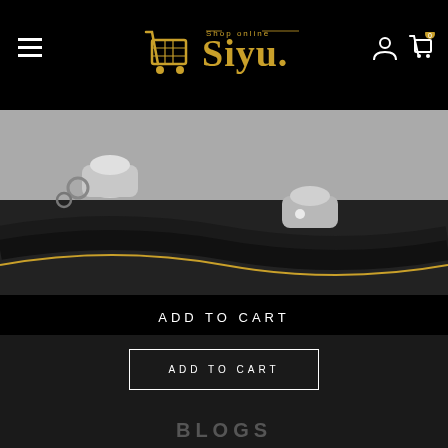Siyu Shop Online
[Figure (photo): Close-up photo of an electric scooter lock chain, showing metal links and black fabric covering with silver barrel lock mechanism]
ADD TO CART
COMPARE
Electric scooter Lock 80cm
SIYU RETAIL LTD
€24,50
or 4 Fortnightly payments of €4.90 Interest free with humm more info
ADD TO CART
BLOGS